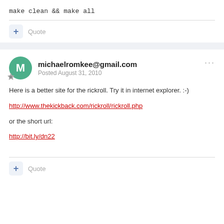make clean && make all
+ Quote
michaelromkee@gmail.com
Posted August 31, 2010
Here is a better site for the rickroll. Try it in internet explorer. :-)
http://www.thekickback.com/rickroll/rickroll.php
or the short url:
http://bit.ly/dn22
+ Quote